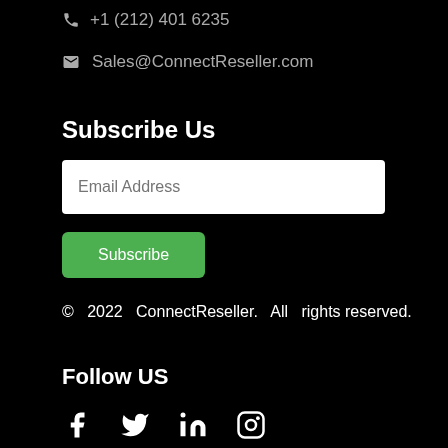+1 (212) 401 6235
Sales@ConnectReseller.com
Subscribe Us
Email Address
Subscribe
© 2022 ConnectReseller. All rights reserved.
Follow US
[Figure (infographic): Social media icons: Facebook, Twitter, LinkedIn, Instagram]